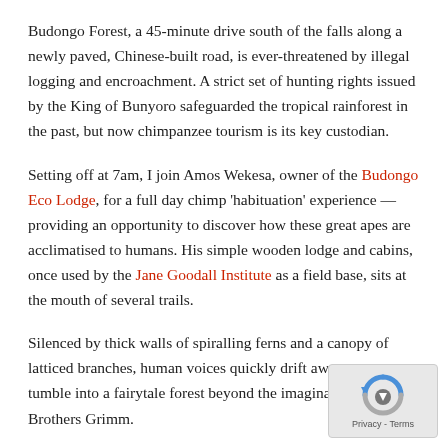Budongo Forest, a 45-minute drive south of the falls along a newly paved, Chinese-built road, is ever-threatened by illegal logging and encroachment. A strict set of hunting rights issued by the King of Bunyoro safeguarded the tropical rainforest in the past, but now chimpanzee tourism is its key custodian.
Setting off at 7am, I join Amos Wekesa, owner of the Budongo Eco Lodge, for a full day chimp 'habituation' experience — providing an opportunity to discover how these great apes are acclimatised to humans. His simple wooden lodge and cabins, once used by the Jane Goodall Institute as a field base, sits at the mouth of several trails.
Silenced by thick walls of spiralling ferns and a canopy of latticed branches, human voices quickly drift away as we tumble into a fairytale forest beyond the imagination of the Brothers Grimm.